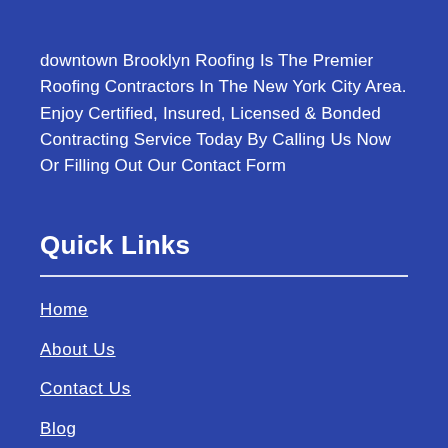downtown Brooklyn Roofing Is The Premier Roofing Contractors In The New York City Area. Enjoy Certified, Insured, Licensed & Bonded Contracting Service Today By Calling Us Now Or Filling Out Our Contact Form
Quick Links
Home
About Us
Contact Us
Blog